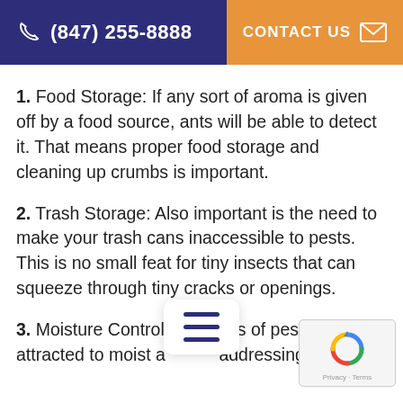(847) 255-8888  CONTACT US
1. Food Storage: If any sort of aroma is given off by a food source, ants will be able to detect it. That means proper food storage and cleaning up crumbs is important.
2. Trash Storage: Also important is the need to make your trash cans inaccessible to pests. This is no small feat for tiny insects that can squeeze through tiny cracks or openings.
3. Moisture Control: [obscured] of pests are attracted to moist a[obscured] addressing